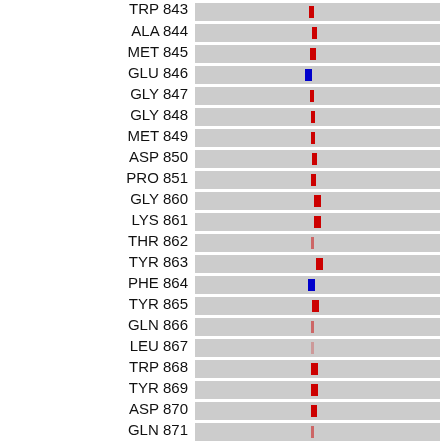[Figure (bar-chart): Horizontal bar chart showing residues (amino acid + number) on y-axis with gray bars extending from left; red or blue markers indicate specific interaction positions near the midpoint of each bar.]